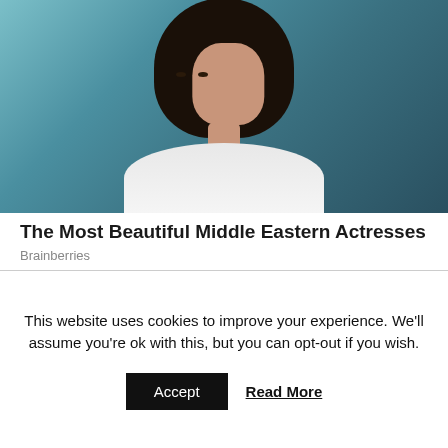[Figure (photo): A young woman with dark hair wearing a white top, photographed from the shoulders up against a teal/blue background.]
The Most Beautiful Middle Eastern Actresses
Brainberries
This website uses cookies to improve your experience. We'll assume you're ok with this, but you can opt-out if you wish.